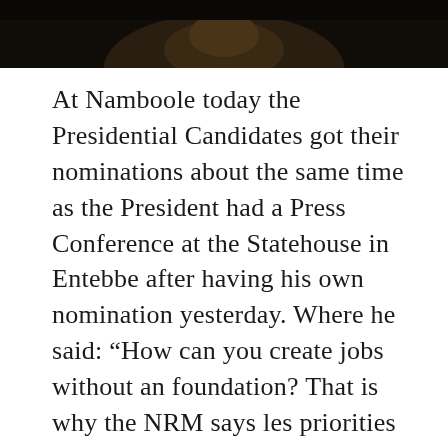[Figure (photo): Dark photograph partially visible at the top of the page, showing a person's face or head against a dark background, cropped to show only the top portion.]
At Namboole today the Presidential Candidates got their nominations about the same time as the President had a Press Conference at the Statehouse in Entebbe after having his own nomination yesterday. Where he said: “How can you create jobs without an foundation? That is why the NRM says les priorities peace” (...)”Birigimana exposed the theft in the Office of the Prime Minister” (...)”Bambi, we have been moving forward since 1986, sorry” . While he was saying this Dr. Kizza Besigye was crossing town, I am sure there was more people walking amongst the FDC leader then the brothers watching